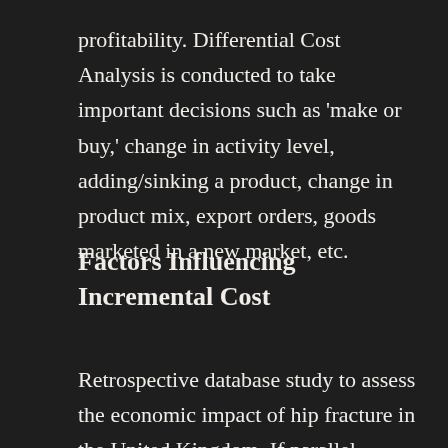profitability. Differential Cost Analysis is conducted to take important decisions such as 'make or buy,' change in activity level, adding/sinking a product, change in product mix, export orders, goods marketed in a new market, etc.
Factors Influencing Incremental Cost
Retrospective database study to assess the economic impact of hip fracture in the United Kingdom. If parallel operation with the Electricity Supply Board is not catered for in the generating equipment purchased, peak lopping